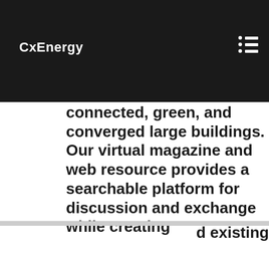CxEnergy
web resource. We provide the news and connection to the community of agents that are creating our present definition of smart, intelligent, integrated, connected, green, and converged large buildings. Our virtual magazine and web resource provides a searchable platform for discussion and exchange while creating
d existing
ACG Cookie Notification
ACG uses cookies to enhance your experience, personalize content, and analyze traffic. By continuing to use this site, you consent to our use of cookies or you may disable cookies in your browser. Disabling cookies may adversely affect your user experience on our website.
ldings.com/
lting-
fying
eer
print and